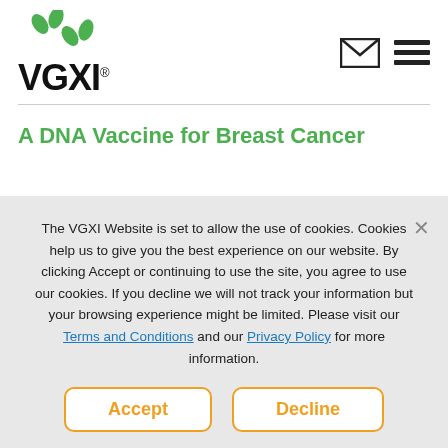[Figure (logo): VGXI logo with green dots and company name in bold black text with registered trademark symbol]
A DNA Vaccine for Breast Cancer
The VGXI Website is set to allow the use of cookies. Cookies help us to give you the best experience on our website. By clicking Accept or continuing to use the site, you agree to use our cookies. If you decline we will not track your information but your browsing experience might be limited. Please visit our Terms and Conditions and our Privacy Policy for more information.